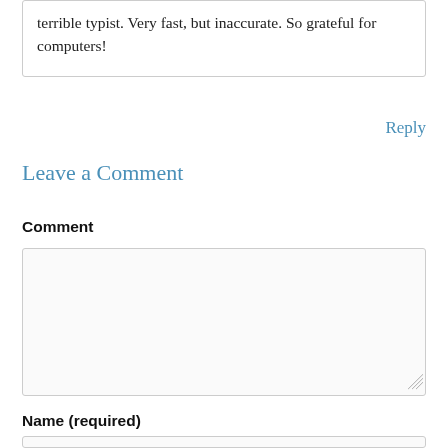terrible typist. Very fast, but inaccurate. So grateful for computers!
Reply
Leave a Comment
Comment
Name (required)